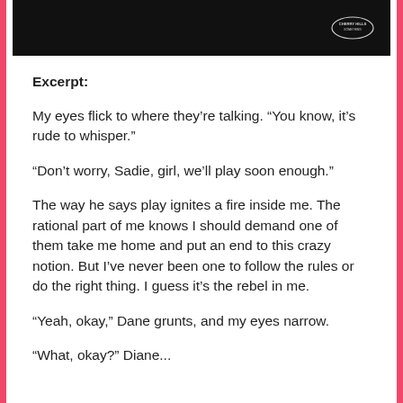[Figure (photo): Dark/black image strip at the top with a small oval logo in the upper right corner, appears to be a book cover detail]
Excerpt:
My eyes flick to where they’re talking. “You know, it’s rude to whisper.”
“Don’t worry, Sadie, girl, we’ll play soon enough.”
The way he says play ignites a fire inside me. The rational part of me knows I should demand one of them take me home and put an end to this crazy notion. But I’ve never been one to follow the rules or do the right thing. I guess it’s the rebel in me.
“Yeah, okay,” Dane grunts, and my eyes narrow.
“What, okay?” Dane...